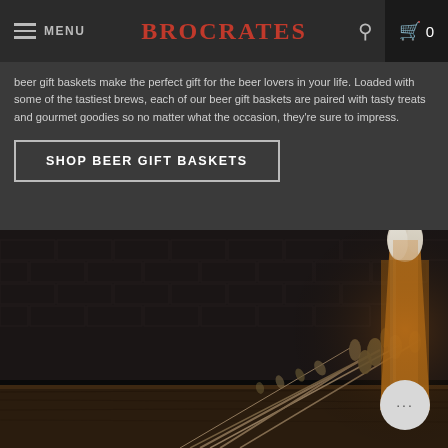MENU | BROCRATES | 🔍 | 🛒 0
beer gift baskets make the perfect gift for the beer lovers in your life. Loaded with some of the tastiest brews, each of our beer gift baskets are paired with tasty treats and gourmet goodies so no matter what the occasion, they're sure to impress.
SHOP BEER GIFT BASKETS
[Figure (photo): Dark moody photo of a glass of beer with golden hop and wheat stalks on a wooden table against a dark brick wall background.]